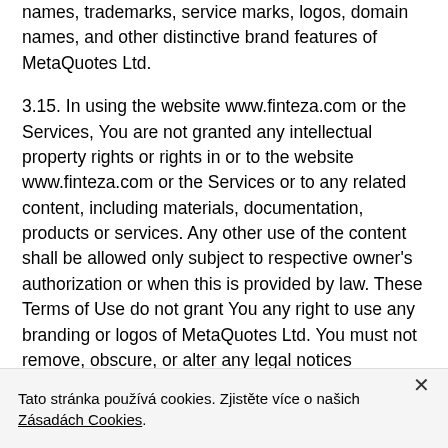names, trademarks, service marks, logos, domain names, and other distinctive brand features of MetaQuotes Ltd.
3.15. In using the website www.finteza.com or the Services, You are not granted any intellectual property rights or rights in or to the website www.finteza.com or the Services or to any related content, including materials, documentation, products or services. Any other use of the content shall be allowed only subject to respective owner's authorization or when this is provided by law. These Terms of Use do not grant You any right to use any branding or logos of MetaQuotes Ltd. You must not remove, obscure, or alter any legal notices displayed on the pages of the
Tato stránka používá cookies. Zjistěte více o našich Zásadách Cookies.